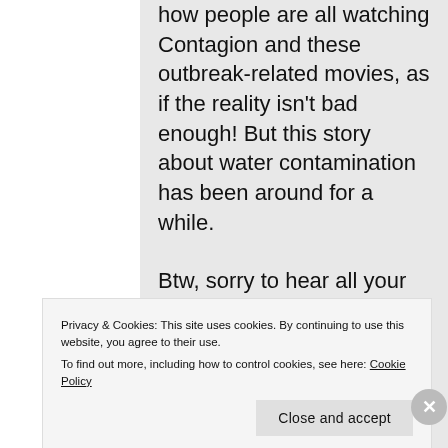how people are all watching Contagion and these outbreak-related movies, as if the reality isn't bad enough! But this story about water contamination has been around for a while.
Btw, sorry to hear all your video shoots are canceled, but there's so
Privacy & Cookies: This site uses cookies. By continuing to use this website, you agree to their use.
To find out more, including how to control cookies, see here: Cookie Policy
Close and accept